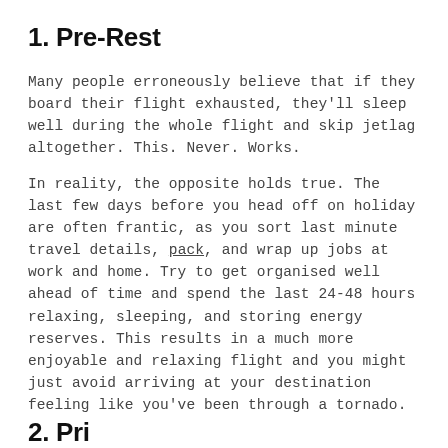1. Pre-Rest
Many people erroneously believe that if they board their flight exhausted, they'll sleep well during the whole flight and skip jetlag altogether. This. Never. Works.
In reality, the opposite holds true. The last few days before you head off on holiday are often frantic, as you sort last minute travel details, pack, and wrap up jobs at work and home. Try to get organised well ahead of time and spend the last 24-48 hours relaxing, sleeping, and storing energy reserves. This results in a much more enjoyable and relaxing flight and you might just avoid arriving at your destination feeling like you've been through a tornado.
2. Pri...